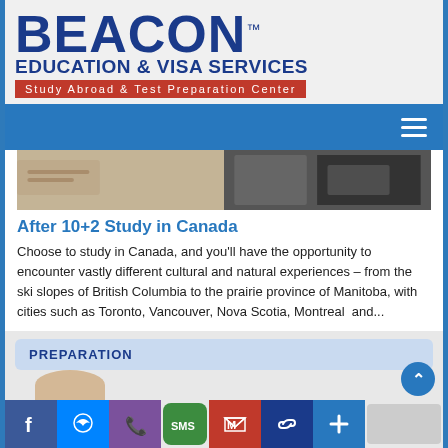[Figure (logo): Beacon Education & Visa Services logo with TM mark, blue text on light background, red bar with 'Study Abroad & Test Preparation Center']
[Figure (screenshot): Blue navigation bar with hamburger menu icon on right]
[Figure (photo): Photo strip showing students studying, two side by side images]
After 10+2 Study in Canada
Choose to study in Canada, and you'll have the opportunity to encounter vastly different cultural and natural experiences – from the ski slopes of British Columbia to the prairie province of Manitoba, with cities such as Toronto, Vancouver, Nova Scotia, Montreal  and...
PREPARATION
[Figure (screenshot): Bottom app sharing bar with Facebook, Messenger, Viber, SMS, Gmail, link, plus icons and blank space]